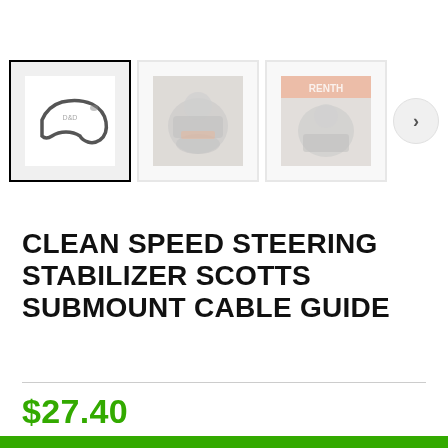[Figure (photo): Product thumbnail gallery showing three images: first (selected) shows a curved cable guide bracket on white background with border, second shows a motorcycle with rider closeup (faded), third shows another motorcycle closeup with orange branding (faded). A right-arrow navigation button is visible.]
CLEAN SPEED STEERING STABILIZER SCOTTS SUBMOUNT CABLE GUIDE
$27.40